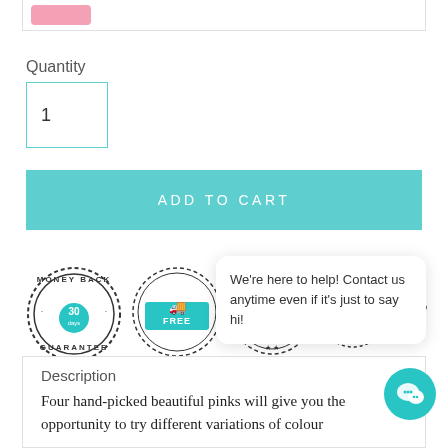[Figure (screenshot): Pink button partially visible at top of page inside a bordered card]
Quantity
1
ADD TO CART
[Figure (illustration): Row of trust badges: Money Back Guarantee (30 days), Free Delivery, Guaranteed Quality, 100%, 100%]
We're here to help! Contact us anytime even if it's just to say hi!
Description
Four hand-picked beautiful pinks will give you the opportunity to try different variations of colour